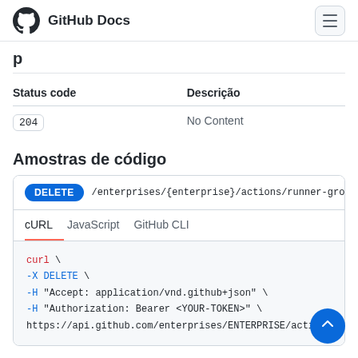GitHub Docs
p
| Status code | Descrição |
| --- | --- |
| 204 | No Content |
Amostras de código
DELETE /enterprises/{enterprise}/actions/runner-grou
cURL  JavaScript  GitHub CLI
curl \
  -X DELETE \
  -H "Accept: application/vnd.github+json" \
  -H "Authorization: Bearer <YOUR-TOKEN>" \
  https://api.github.com/enterprises/ENTERPRISE/actions/ru